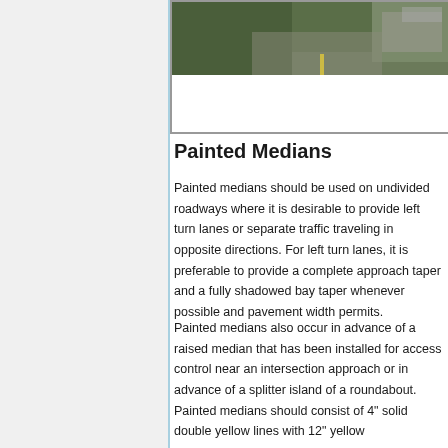[Figure (photo): Aerial photograph of a roadway intersection showing yellow lane markings, partially visible at the top of the page]
Painted Medians
Painted medians should be used on undivided roadways where it is desirable to provide left turn lanes or separate traffic traveling in opposite directions. For left turn lanes, it is preferable to provide a complete approach taper and a fully shadowed bay taper whenever possible and pavement width permits.
Painted medians also occur in advance of a raised median that has been installed for access control near an intersection approach or in advance of a splitter island of a roundabout. Painted medians should consist of 4" solid double yellow lines with 12" yellow